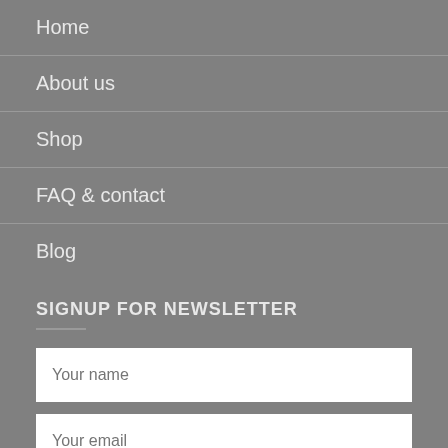Home
About us
Shop
FAQ & contact
Blog
SIGNUP FOR NEWSLETTER
Your name
Your email
Submit